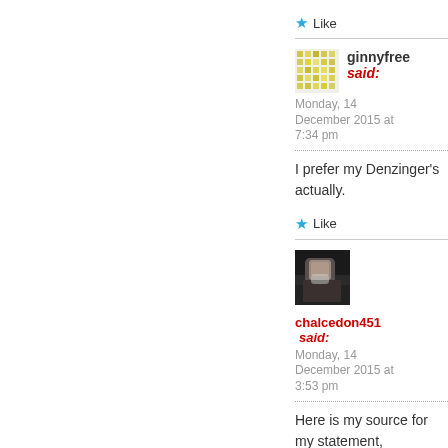Like
ginnyfree said:
Monday, 14 December 2015 at 7:34 pm
I prefer my Denzinger's actually.
Like
[Figure (photo): Profile photo of chalcedon451]
chalcedon451 said:
Monday, 14 December 2015 at 3:53 pm
Here is my source for my statement,